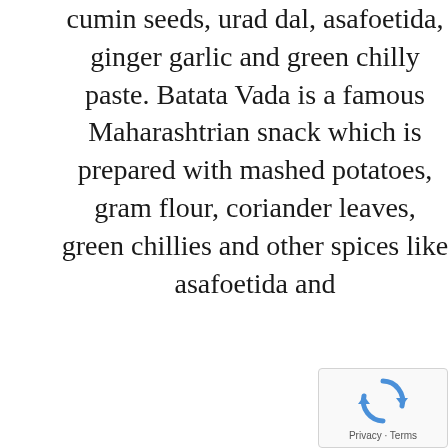cumin seeds, urad dal, asafoetida, ginger garlic and green chilly paste. Batata Vada is a famous Maharashtrian snack which is prepared with mashed potatoes, gram flour, coriander leaves, green chillies and other spices like asafoetida and
[Figure (other): reCAPTCHA widget with Google logo and Privacy - Terms text]